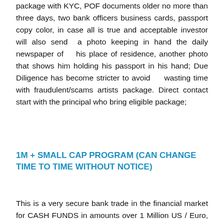package with KYC, POF documents older no more than three days, two bank officers business cards, passport copy color, in case all is true and acceptable investor will also send a photo keeping in hand the daily newspaper of his place of residence, another photo that shows him holding his passport in his hand; Due Diligence has become stricter to avoid wasting time with fraudulent/scams artists package. Direct contact start with the principal who bring eligible package;
1M + SMALL CAP PROGRAM (CAN CHANGE TIME TO TIME WITHOUT NOTICE)
This is a very secure bank trade in the financial market for CASH FUNDS in amounts over 1 Million US / Euro, as the